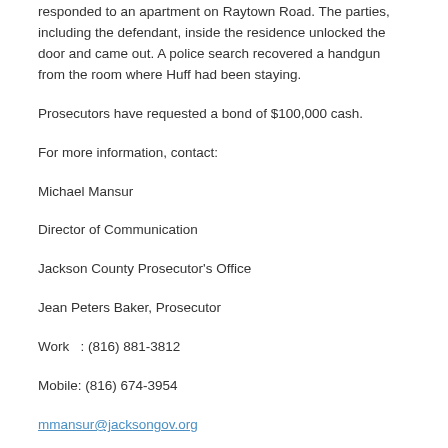responded to an apartment on Raytown Road. The parties, including the defendant, inside the residence unlocked the door and came out. A police search recovered a handgun from the room where Huff had been staying.
Prosecutors have requested a bond of $100,000 cash.
For more information, contact:
Michael Mansur
Director of Communication
Jackson County Prosecutor's Office
Jean Peters Baker, Prosecutor
Work   : (816) 881-3812
Mobile: (816) 674-3954
mmansur@jacksongov.org